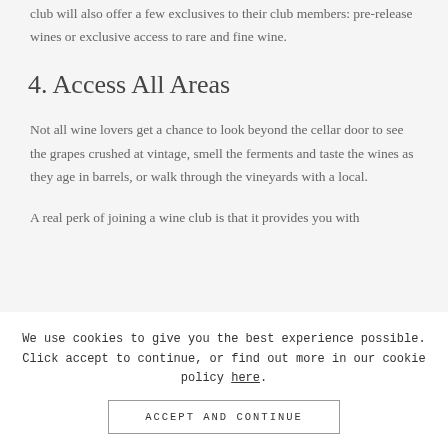Don't forget – value isn't always in the savings. A good wine club will also offer a few exclusives to their club members: pre-release wines or exclusive access to rare and fine wine.
4. Access All Areas
Not all wine lovers get a chance to look beyond the cellar door to see the grapes crushed at vintage, smell the ferments and taste the wines as they age in barrels, or walk through the vineyards with a local.
A real perk of joining a wine club is that it provides you with
We use cookies to give you the best experience possible. Click accept to continue, or find out more in our cookie policy here.
ACCEPT AND CONTINUE